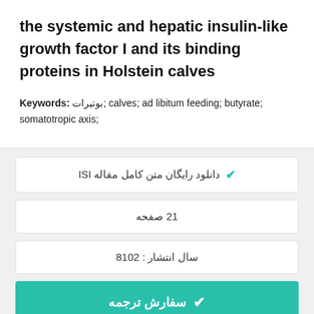the systemic and hepatic insulin-like growth factor I and its binding proteins in Holstein calves
Keywords:  بوتیرات; calves;  ad libitum feeding; butyrate; somatotropic axis;
✔ دانلود رایگان متن کامل مقاله ISI
12 صفحه
سال انتشار : 2018
✔ سفارش ترجمه